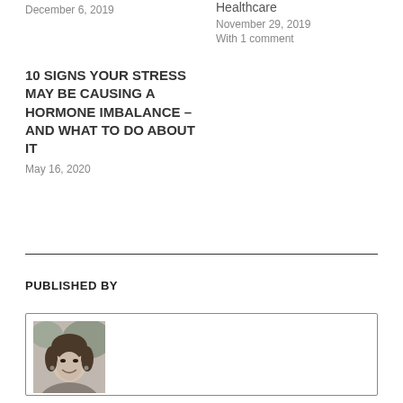December 6, 2019
Healthcare
November 29, 2019
With 1 comment
10 SIGNS YOUR STRESS MAY BE CAUSING A HORMONE IMBALANCE – AND WHAT TO DO ABOUT IT
May 16, 2020
PUBLISHED BY
[Figure (photo): Grayscale portrait photo of a smiling woman with dark hair and earrings, shown from shoulders up]